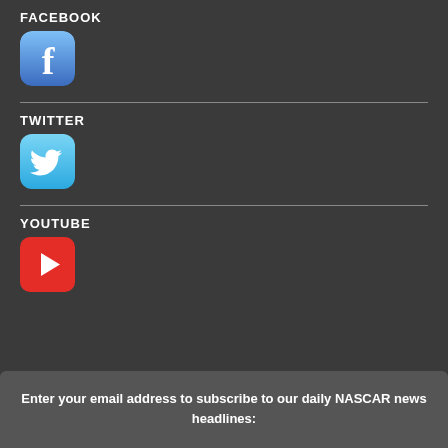FACEBOOK
[Figure (logo): Facebook app icon with white 'f' on blue gradient background]
TWITTER
[Figure (logo): Twitter app icon with white bird on blue gradient background]
YOUTUBE
[Figure (logo): YouTube icon with white play triangle on red background]
Enter your email address to subscribe to our daily NASCAR news headlines: